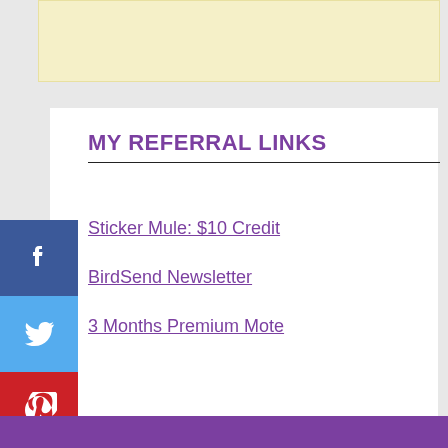[Figure (other): Advertisement banner placeholder with light yellow background]
MY REFERRAL LINKS
Sticker Mule: $10 Credit
BirdSend Newsletter
3 Months Premium Mote
[Figure (other): Purple footer bar]
[Figure (other): Social media sharing sidebar with Facebook, Twitter, Pinterest, Reddit, Email, Phone icons]